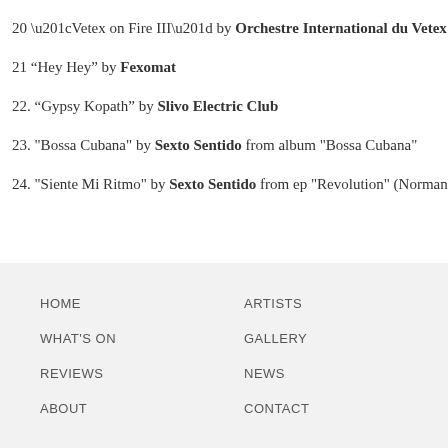20 “Vetex on Fire III” by Orchestre International du Vetex
21 “Hey Hey” by Fexomat
22. “Gypsy Kopath” by Slivo Electric Club
23. "Bossa Cubana" by Sexto Sentido from album "Bossa Cubana"
24. "Siente Mi Ritmo" by Sexto Sentido from ep "Revolution" (Norman Cook &
HOME  ARTISTS  WHAT'S ON  GALLERY  REVIEWS  NEWS  ABOUT  CONTACT